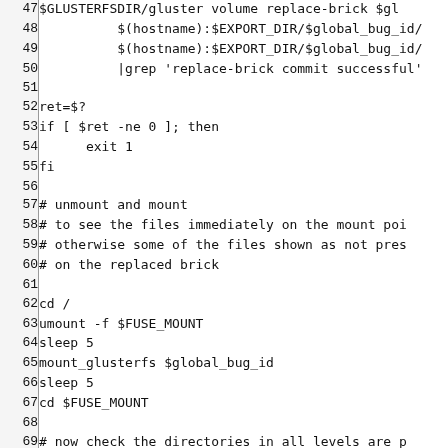Code block showing shell script lines 47-76 with line numbers. Content includes gluster volume replace-brick commands, error checking with ret=$?, if/fi blocks, unmount/mount operations, and directory checking loop.